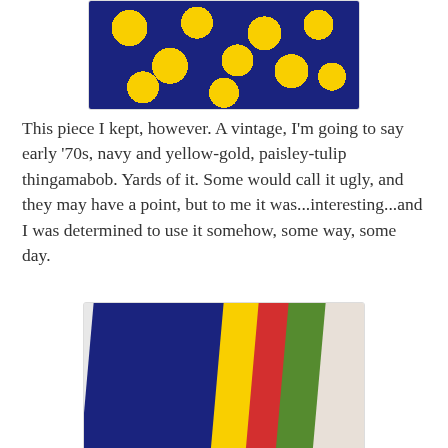[Figure (photo): Close-up of navy blue fabric with yellow-gold paisley and flower pattern, partially visible at the top of the page]
This piece I kept, however.  A vintage, I'm going to say early '70s, navy and yellow-gold, paisley-tulip thingamabob.  Yards of it.  Some would call it ugly, and they may have a point, but to me it was...interesting...and I was determined to use it somehow, some way, some day.
[Figure (photo): Stack of fabric pieces laid diagonally: navy blue with yellow flowers on bottom, then yellow, red, green, and white with peace symbols fabric on top]
The other day, I saw it in the stash and pulled it out and started thinking about what might work.  How about a Lemoyne Star, something simple, maybe use up some other odds and ends while I'm at it.  Here was my little stack.